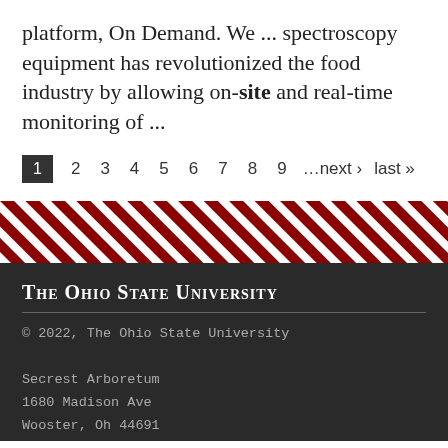platform, On Demand. We ... spectroscopy equipment has revolutionized the food industry by allowing on-site and real-time monitoring of ...
1 2 3 4 5 6 7 8 9 …next › last »
[Figure (other): Diagonal red and white stripe decorative banner]
The Ohio State University
© 2022, The Ohio State University
Secrest Arboretum
1680 Madison Ave
Wooster, Oh 44691